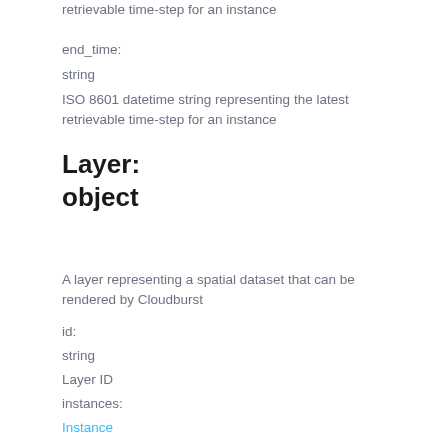retrievable time-step for an instance
end_time:
string
ISO 8601 datetime string representing the latest retrievable time-step for an instance
Layer:
object
A layer representing a spatial dataset that can be rendered by Cloudburst
id:
string
Layer ID
instances:
Instance
bounds:
Bounds
meta:
Metadata